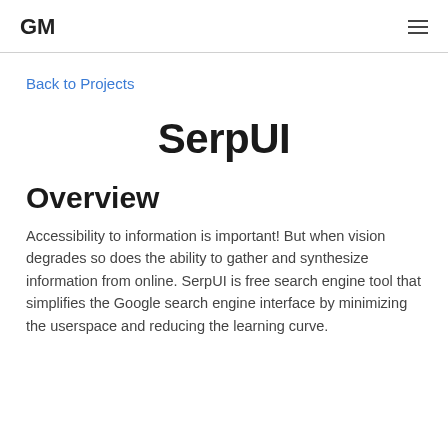GM
Back to Projects
SerpUI
Overview
Accessibility to information is important! But when vision degrades so does the ability to gather and synthesize information from online. SerpUI is free search engine tool that simplifies the Google search engine interface by minimizing the userspace and reducing the learning curve.